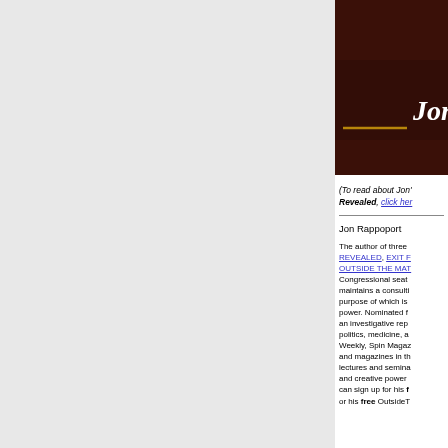[Figure (photo): Book cover for Jon Rappoport with dark brown/red background and the text 'Jon' in white italic letters with a gold horizontal line]
(To read about Jon's AIDS EXPOSED Revealed, click here
Jon Rappoport
The author of three explosive collections, AIDS REVEALED, EXIT FROM THE MATRIX, and OUTSIDE THE MATRIX, Congressional seat...maintains a consulting...purpose of which is...power. Nominated for...an investigative rep...politics, medicine, a...Weekly, Spin Magaz...and magazines in th...lectures and semina...and creative power...can sign up for his free...or his free OutsideT...